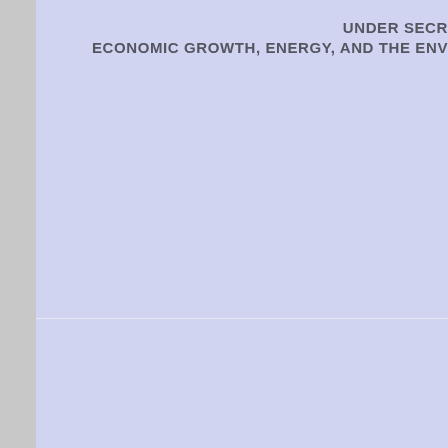UNDER SECR
ECONOMIC GROWTH, ENERGY, AND THE ENV